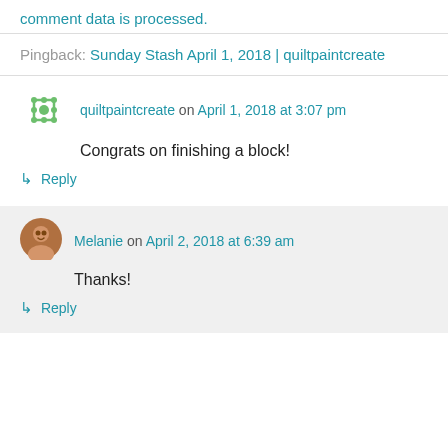comment data is processed.
Pingback: Sunday Stash April 1, 2018 | quiltpaintcreate
quiltpaintcreate on April 1, 2018 at 3:07 pm
Congrats on finishing a block!
↳ Reply
Melanie on April 2, 2018 at 6:39 am
Thanks!
↳ Reply